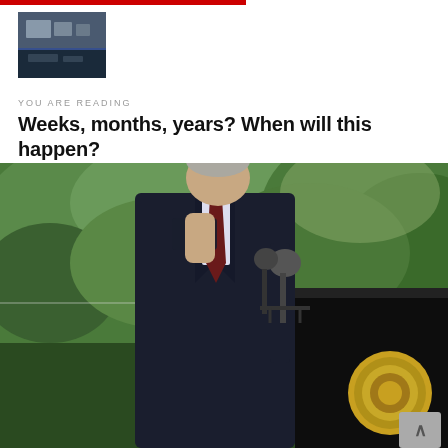[Figure (photo): Small thumbnail image of an indoor scene, possibly a store or facility interior with shelves and blue flooring]
YOU ARE READING
Weeks, months, years? When will this happen?
[Figure (photo): Large photo of a man in a dark suit at a presidential podium removing a face mask, with green trees in background and presidential seal on the podium]